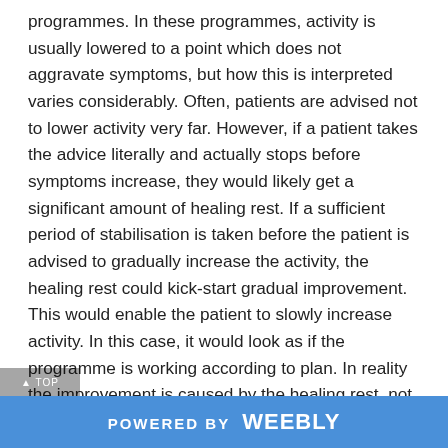programmes. In these programmes, activity is usually lowered to a point which does not aggravate symptoms, but how this is interpreted varies considerably. Often, patients are advised not to lower activity very far. However, if a patient takes the advice literally and actually stops before symptoms increase, they would likely get a significant amount of healing rest. If a sufficient period of stabilisation is taken before the patient is advised to gradually increase the activity, the healing rest could kick-start gradual improvement. This would enable the patient to slowly increase activity. In this case, it would look as if the programme is working according to plan. In reality the improvement is caused by the healing rest, not by the gradual increase in activity thought to be responsible for the improvement by those who designed the programme. If, however, the patient is advised not to lower activity very far, they may not get any healing rest, in which case attempts to increase activity would likely lead to severe relapse. The theory of repairing rest and healing rest can therefore explain
POWERED BY weebly